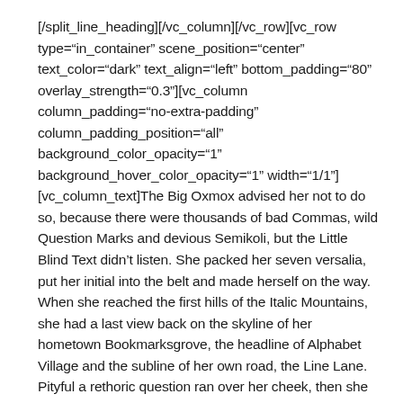[/split_line_heading][/vc_column][/vc_row][vc_row type="in_container" scene_position="center" text_color="dark" text_align="left" bottom_padding="80" overlay_strength="0.3"][vc_column column_padding="no-extra-padding" column_padding_position="all" background_color_opacity="1" background_hover_color_opacity="1" width="1/1"][vc_column_text]The Big Oxmox advised her not to do so, because there were thousands of bad Commas, wild Question Marks and devious Semikoli, but the Little Blind Text didn't listen. She packed her seven versalia, put her initial into the belt and made herself on the way. When she reached the first hills of the Italic Mountains, she had a last view back on the skyline of her hometown Bookmarksgrove, the headline of Alphabet Village and the subline of her own road, the Line Lane. Pityful a rethoric question ran over her cheek, then she continued